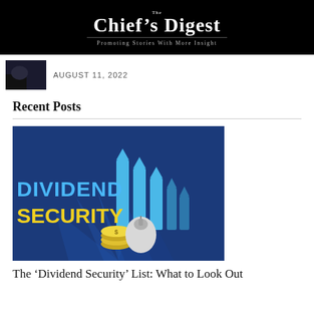The Chief's Digest — Promoting Stories With More Insight
AUGUST 11, 2022
Recent Posts
[Figure (illustration): Dividend Security infographic showing rising blue arrows and a money bag with gold coins on a dark blue background, with bold text reading DIVIDEND SECURITY]
The 'Dividend Security' List: What to Look Out